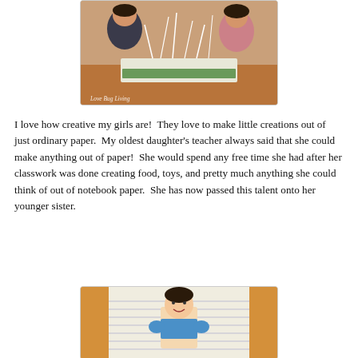[Figure (photo): Two girls smiling and showing a paper craft project on a table. Watermark reads 'Love Bug Living'.]
I love how creative my girls are!  They love to make little creations out of just ordinary paper.  My oldest daughter's teacher always said that she could make anything out of paper!  She would spend any free time she had after her classwork was done creating food, toys, and pretty much anything she could think of out of notebook paper.  She has now passed this talent onto her younger sister.
[Figure (photo): A paper craft figure of a person dressed in blue, displayed on a notebook paper background.]